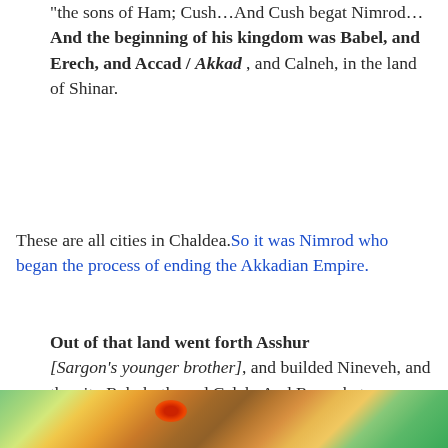"the sons of Ham; Cush…And Cush begat Nimrod…And the beginning of his kingdom was Babel, and Erech, and Accad / Akkad , and Calneh, in the land of Shinar.
These are all cities in Chaldea. So it was Nimrod who began the process of ending the Akkadian Empire.
Out of that land went forth Asshur [Sargon's younger brother], and builded Nineveh, and the city Rehoboth, and Calah, And Resen between Nineveh and Calah: the same is a great city.
[Figure (map): Partial view of a colorized topographic/geographic map showing terrain in greens, yellows, oranges and browns, with a red marker visible.]